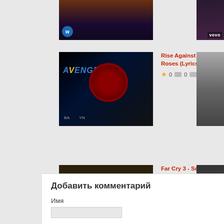[Figure (screenshot): Top thumbnail - partial video thumbnail on left with WB logo overlay]
[Figure (screenshot): Top right partial thumbnail with vevo tag]
[Figure (screenshot): Avengers themed thumbnail for Rise Against - Dirt and Roses video]
Rise Against - Dirt and Roses (Lyrics On-Screen)
★ 0  💬 0  👁 473
[Figure (screenshot): Black and white person thumbnail on right column]
[Figure (screenshot): Far Cry 3 game scene thumbnail]
Far Cry 3 - Soundtrack - M.I.A. - Paper Planes
★ 0  💬 0  👁 720
[Figure (screenshot): Right column dark thumbnail with vevo tag and person with dark hair]
Добавить комментарий
Имя